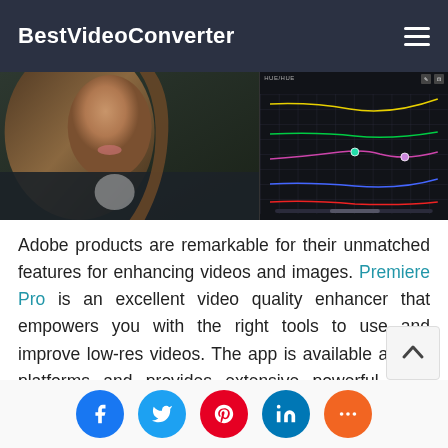BestVideoConverter
[Figure (screenshot): Screenshot of a video editing application showing a woman's face being color graded. The left side shows the original/split view of a woman with long hair, and the right side shows a color grading panel with curves (RGB channels displayed in a grid).]
Adobe products are remarkable for their unmatched features for enhancing videos and images. Premiere Pro is an excellent video quality enhancer that empowers you with the right tools to use and improve low-res videos. The app is available across platforms and provides extensive powerful color correction tools to improve image details.